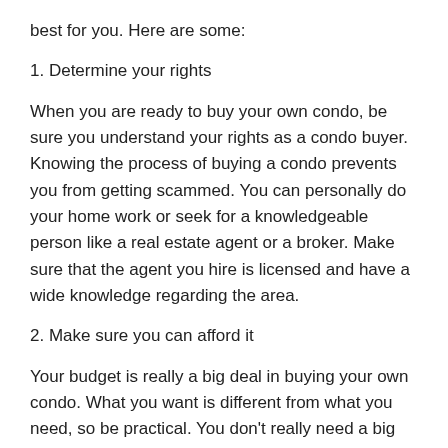best for you. Here are some:
1. Determine your rights
When you are ready to buy your own condo, be sure you understand your rights as a condo buyer. Knowing the process of buying a condo prevents you from getting scammed. You can personally do your home work or seek for a knowledgeable person like a real estate agent or a broker. Make sure that the agent you hire is licensed and have a wide knowledge regarding the area.
2. Make sure you can afford it
Your budget is really a big deal in buying your own condo. What you want is different from what you need, so be practical. You don't really need a big condo if you're just one person that travels everyday, right? Make sure that you need the best for your money. So think hard